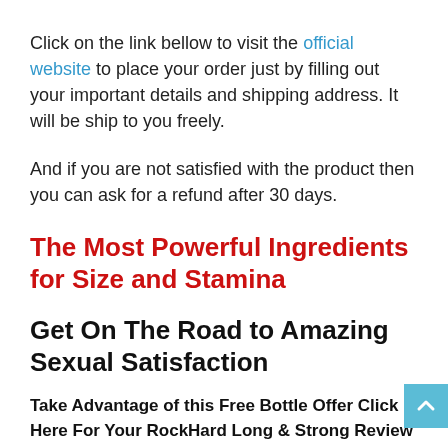Click on the link bellow to visit the official website to place your order just by filling out your important details and shipping address. It will be ship to you freely.
And if you are not satisfied with the product then you can ask for a refund after 30 days.
The Most Powerful Ingredients for Size and Stamina
Get On The Road to Amazing Sexual Satisfaction
Take Advantage of this Free Bottle Offer Click Here For Your RockHard Long & Strong Review free trail!